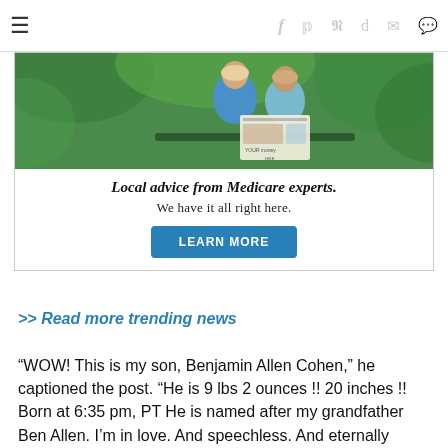≡  f  𝕏  𝕡  𝕣  ✉  💬
[Figure (photo): Elderly couple sitting outdoors reading a magazine, surrounded by green foliage. Advertisement for Medicare advice.]
Local advice from Medicare experts. We have it all right here. LEARN MORE
>> Read more trending news
“WOW! This is my son, Benjamin Allen Cohen,” he captioned the post. “He is 9 lbs 2 ounces !! 20 inches !! Born at 6:35 pm, PT He is named after my grandfather Ben Allen. I’m in love. And speechless. And eternally grateful to an incredible surrogate. And I’m a dad. Wow.”